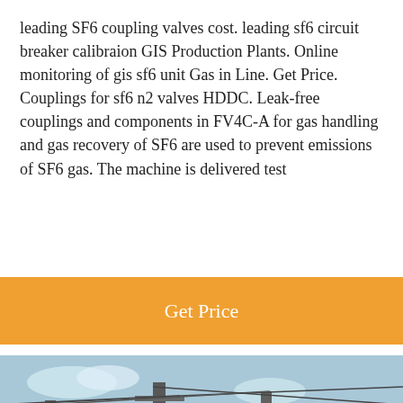leading SF6 coupling valves cost. leading sf6 circuit breaker calibraion GIS Production Plants. Online monitoring of gis sf6 unit Gas in Line. Get Price. Couplings for sf6 n2 valves HDDC. Leak-free couplings and components in FV4C-A for gas handling and gas recovery of SF6 are used to prevent emissions of SF6 gas. The machine is delivered test
Get Price
[Figure (photo): Outdoor electrical substation with high-voltage equipment, transformers, and overhead power lines against a blue sky. A yellow/orange structure visible on the right side.]
Leave Message   Chat Online